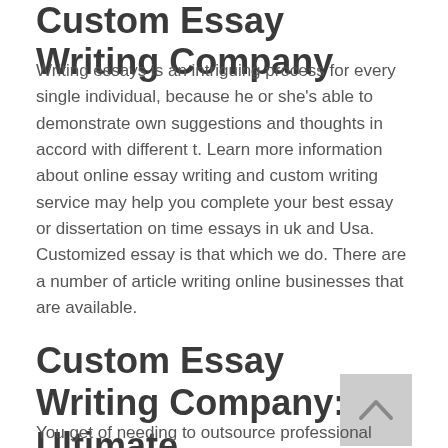Custom Essay Writing Company
Writing essays is an intriguing process for every single individual, because he or she's able to demonstrate own suggestions and thoughts in accord with different t. Learn more information about online essay writing and custom writing service may help you complete your best essay or dissertation on time essays in uk and Usa. Customized essay is that which we do. There are a number of article writing online businesses that are available.
Custom Essay Writing Company: the Ultimate Convenience!
You get of needing to outsource professional